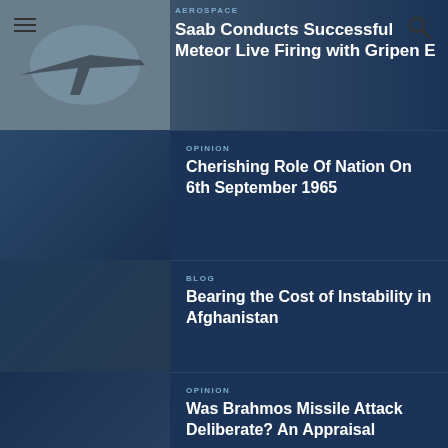AEROSPACE
Saab Conducts Successful Meteor Live Firing with Gripen E
OPINION
Cherishing Role Of Nation On 6th September 1965
BLOG
Bearing the Cost of Instability in Afghanistan
OPINION
Was Brahmos Missile Attack Deliberate? An Appraisal